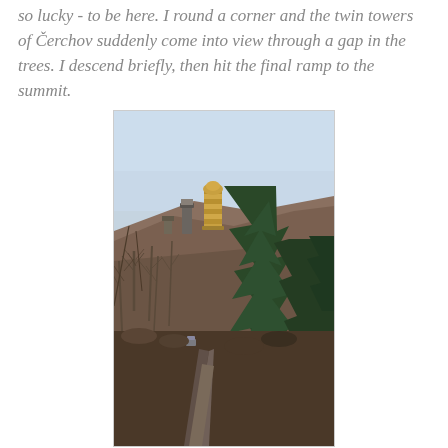so lucky - to be here. I round a corner and the twin towers of Čerchov suddenly come into view through a gap in the trees. I descend briefly, then hit the final ramp to the summit.
[Figure (photo): Photograph showing a forest road leading uphill toward the twin towers of Čerchov summit, visible through bare winter trees against a pale blue sky. Tall evergreen trees on the right, bare deciduous trees on the left and center. A car is visible on the road in the distance.]